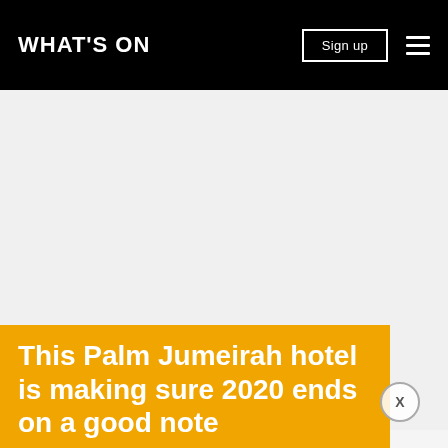WHAT'S ON
[Figure (photo): Large light grey image placeholder area for a Palm Jumeirah hotel photograph]
This Palm Jumeirah hotel is making sure 2020 ends on a good note